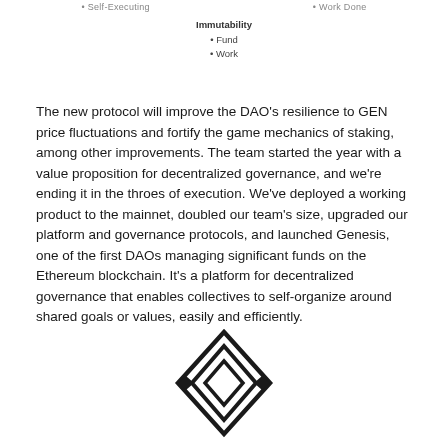• Self-Executing   • Work Done
Immutability
• Fund
• Work
The new protocol will improve the DAO's resilience to GEN price fluctuations and fortify the game mechanics of staking, among other improvements. The team started the year with a value proposition for decentralized governance, and we're ending it in the throes of execution. We've deployed a working product to the mainnet, doubled our team's size, upgraded our platform and governance protocols, and launched Genesis, one of the first DAOs managing significant funds on the Ethereum blockchain. It's a platform for decentralized governance that enables collectives to self-organize around shared goals or values, easily and efficiently.
[Figure (logo): A geometric diamond/rhombus logo with nested diamond shapes and small diamond accents on the sides, rendered in black outline style.]